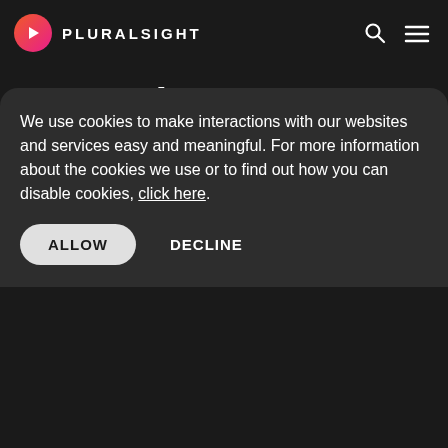PLURALSIGHT
Dynamics CRM Developer - Part 1
★★★★½ by David Yack
The Dynamics CRM Developer course is designed to help developers familiar with Microsoft...
We use cookies to make interactions with our websites and services easy and meaningful. For more information about the cookies we use or to find out how you can disable cookies, click here.
ALLOW   DECLINE